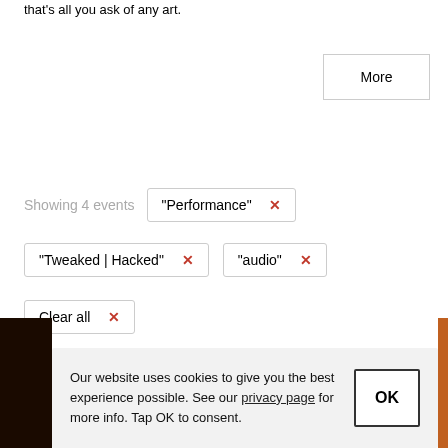that's all you ask of any art.
More
Showing 4 events
"Performance" ×
"Tweaked | Hacked" ×
"audio" ×
Clear all ×
Sort
Filter
Search
Our website uses cookies to give you the best experience possible. See our privacy page for more info. Tap OK to consent.
OK